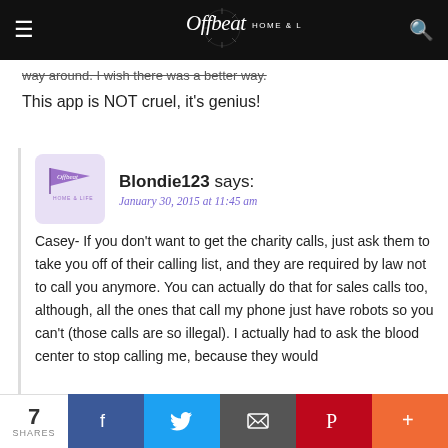Offbeat HOME & LIFE
way around. I wish there was a better way.
This app is NOT cruel, it's genius!
Blondie123 says:
January 30, 2015 at 11:45 am

Casey- If you don't want to get the charity calls, just ask them to take you off of their calling list, and they are required by law not to call you anymore. You can actually do that for sales calls too, although, all the ones that call my phone just have robots so you can't (those calls are so illegal). I actually had to ask the blood center to stop calling me, because they would
7 SHARES  [Facebook] [Twitter] [Email] [Pinterest] [More]